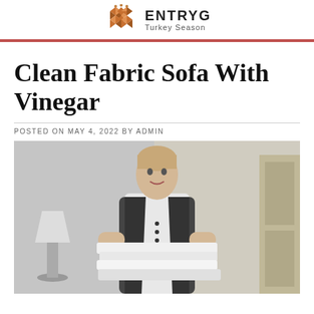ENTRYG Turkey Season
Clean Fabric Sofa With Vinegar
POSTED ON MAY 4, 2022 BY ADMIN
[Figure (photo): Black and white photo of a female hotel housekeeper in uniform holding a stack of white folded towels/linens, standing in a hotel room with a lamp and curtains visible in the background.]